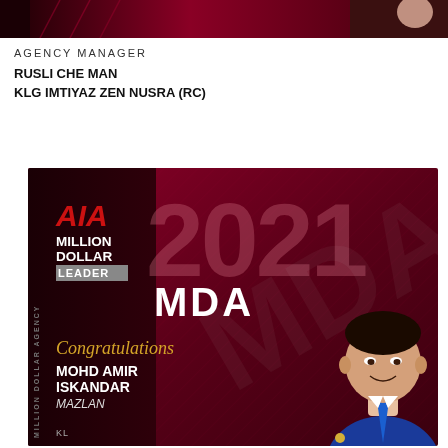[Figure (photo): Top strip image showing a dark red/maroon gradient with partial view of a person on the right side]
AGENCY MANAGER
RUSLI CHE MAN
KLG IMTIYAZ ZEN NUSRA (RC)
[Figure (photo): AIA Million Dollar Leader 2021 MDA award certificate card with congratulations message for MOHD AMIR ISKANDAR MAZLAN. Dark maroon/red background with gold script congratulations text and person's photo on right side.]